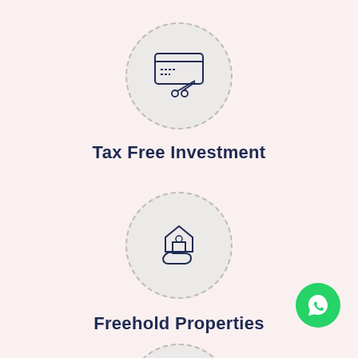[Figure (illustration): Credit card with scissors icon inside a light gray dashed circle — representing tax-free investment]
Tax Free Investment
[Figure (illustration): Hand holding a house icon inside a light gray dashed circle — representing freehold properties]
Freehold Properties
[Figure (illustration): Partial view of buildings with a dollar sign growth icon inside a light gray dashed circle — partially visible at bottom]
[Figure (illustration): WhatsApp button — green circle with WhatsApp logo]